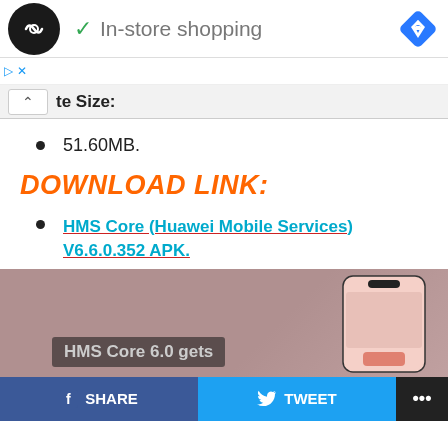[Figure (screenshot): Top navigation bar with circular logo, 'In-store shopping' text with checkmark, and blue diamond navigation icon]
[Figure (screenshot): Ad strip with play and close icons]
[Figure (screenshot): Collapsed panel bar with caret-up and partial text 'te Size:']
51.60MB.
DOWNLOAD LINK:
HMS Core (Huawei Mobile Services) V6.6.0.352 APK.
[Figure (screenshot): HMS Core promotional image showing phone graphic and text 'HMS Core 6.0 gets']
[Figure (screenshot): Social share bar with Facebook SHARE, Twitter TWEET, and more options buttons]